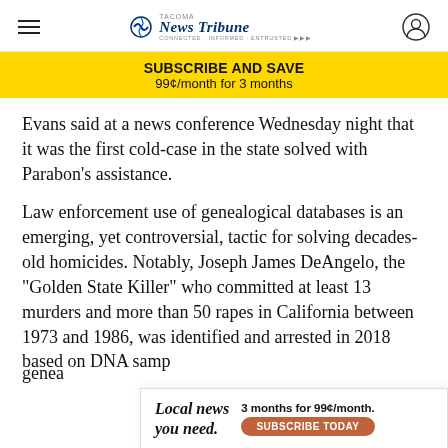Tacoma News Tribune
[Figure (infographic): Subscribe and Save banner: SUBSCRIBE AND SAVE / 99¢/month for 3 months]
Evans said at a news conference Wednesday night that it was the first cold-case in the state solved with Parabon's assistance.
Law enforcement use of genealogical databases is an emerging, yet controversial, tactic for solving decades-old homicides. Notably, Joseph James DeAngelo, the "Golden State Killer" who committed at least 13 murders and more than 50 rapes in California between 1973 and 1986, was identified and arrested in 2018 based on DNA samples provided by distant relatives of genealo...
[Figure (infographic): Bottom ad: Local news you need. 3 months for 99¢/month. SUBSCRIBE TODAY]